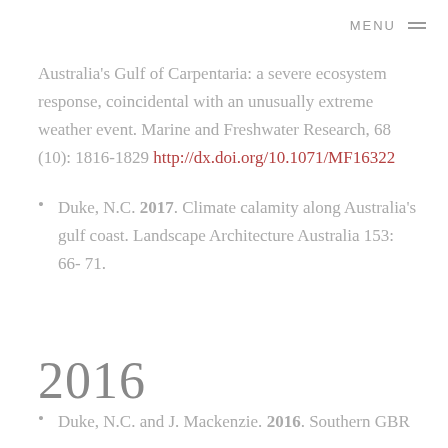MENU
Australia's Gulf of Carpentaria: a severe ecosystem response, coincidental with an unusually extreme weather event. Marine and Freshwater Research, 68 (10): 1816-1829 http://dx.doi.org/10.1071/MF16322
Duke, N.C. 2017. Climate calamity along Australia's gulf coast. Landscape Architecture Australia 153: 66-71.
2016
Duke, N.C. and J. Mackenzie. 2016. Southern GBR...